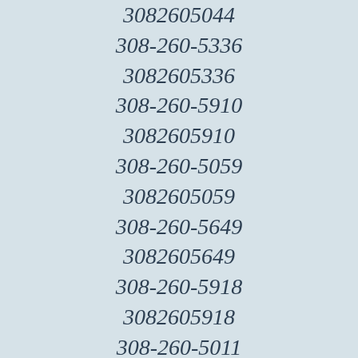3082605044
308-260-5336
3082605336
308-260-5910
3082605910
308-260-5059
3082605059
308-260-5649
3082605649
308-260-5918
3082605918
308-260-5011
3082605011
308-260-5587
3082605587
308-260-5472